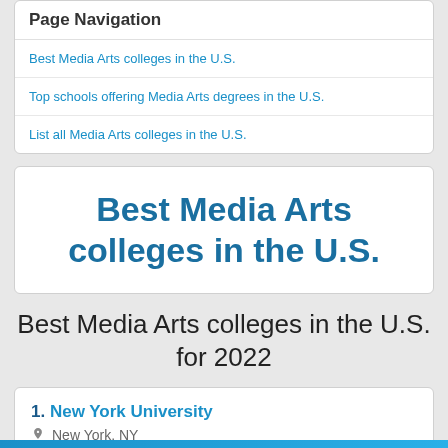Page Navigation
Best Media Arts colleges in the U.S.
Top schools offering Media Arts degrees in the U.S.
List all Media Arts colleges in the U.S.
Best Media Arts colleges in the U.S.
Best Media Arts colleges in the U.S. for 2022
1. New York University — New York, NY